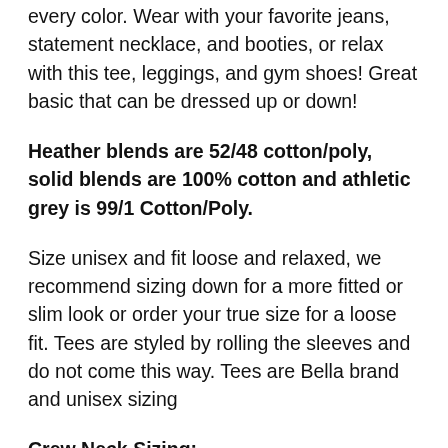every color. Wear with your favorite jeans, statement necklace, and booties, or relax with this tee, leggings, and gym shoes! Great basic that can be dressed up or down!
Heather blends are 52/48 cotton/poly, solid blends are 100% cotton and athletic grey is 99/1 Cotton/Poly.
Size unisex and fit loose and relaxed, we recommend sizing down for a more fitted or slim look or order your true size for a loose fit. Tees are styled by rolling the sleeves and do not come this way. Tees are Bella brand and unisex sizing
Crew Neck Sizing: